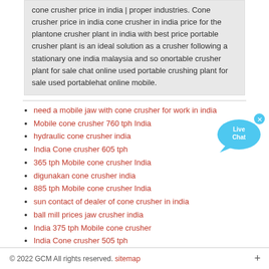cone crusher price in india | proper industries. Cone crusher price in india cone crusher in india price for the plantone crusher plant in india with best price portable crusher plant is an ideal solution as a crusher following a stationary one india malaysia and so onortable crusher plant for sale chat online used portable crushing plant for sale used portablehat online mobile.
need a mobile jaw with cone crusher for work in india
Mobile cone crusher 760 tph India
hydraulic cone crusher india
India Cone crusher 605 tph
365 tph Mobile cone crusher India
digunakan cone crusher india
885 tph Mobile cone crusher India
sun contact of dealer of cone crusher in india
ball mill prices jaw crusher india
India 375 tph Mobile cone crusher
India Cone crusher 505 tph
hp cone crusher bowls in india
roller mill pulverier machine prices crusher mills cone
[Figure (illustration): Live Chat button widget with blue speech bubble and 'x' close icon]
© 2022 GCM All rights reserved. sitemap +